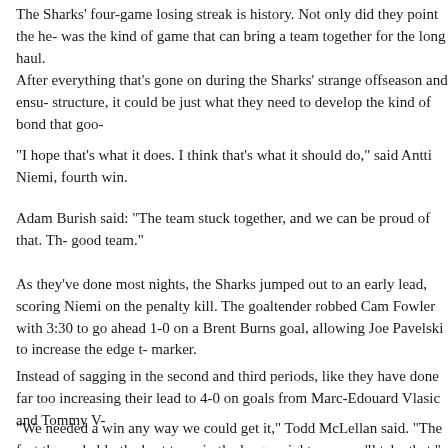The Sharks' four-game losing streak is history. Not only did they point the he- was the kind of game that can bring a team together for the long haul.
After everything that's gone on during the Sharks' strange offseason and ensu- structure, it could be just what they need to develop the kind of bond that goo-
“I hope that’s what it does. I think that’s what it should do,” said Antti Niemi, fourth win.
Adam Burish said: “The team stuck together, and we can be proud of that. Th- good team.”
As they’ve done most nights, the Sharks jumped out to an early lead, scoring Niemi on the penalty kill. The goaltender robbed Cam Fowler with 3:30 to go ahead 1-0 on a Brent Burns goal, allowing Joe Pavelski to increase the edge t- marker.
Instead of sagging in the second and third periods, like they have done far too increasing their lead to 4-0 on goals from Marc-Edouard Vlasic and Tommy V-
“We needed a win any way we could get it,” Todd McLellan said. “The fact th- probably the best team in the league right now, we’ll take that.”